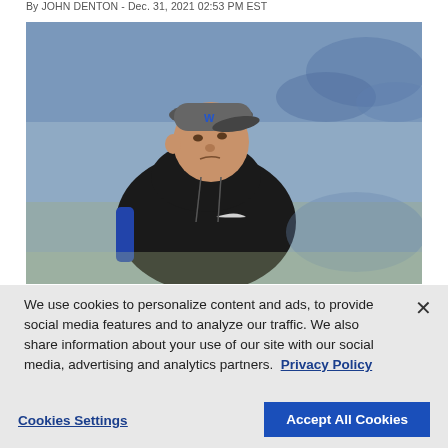By JOHN DENTON - Dec. 31, 2021 02:53 PM EST
[Figure (photo): A football coach wearing a black hoodie with blue accents and a gray cap with a W logo, standing on a field with a stadium and crowd in blue in the blurred background.]
We use cookies to personalize content and ads, to provide social media features and to analyze our traffic. We also share information about your use of our site with our social media, advertising and analytics partners.  Privacy Policy
Cookies Settings
Accept All Cookies